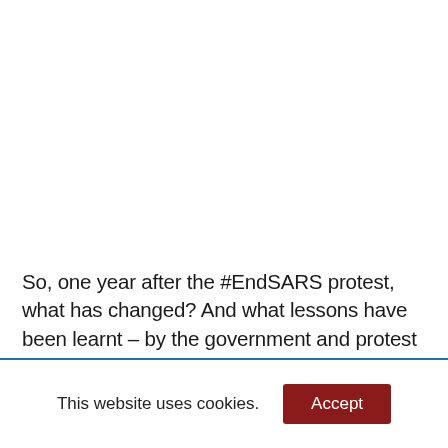So, one year after the #EndSARS protest, what has changed? And what lessons have been learnt – by the government and protest entrepreneurs? I think nothing has changed, and there appears to
This website uses cookies.
Accept